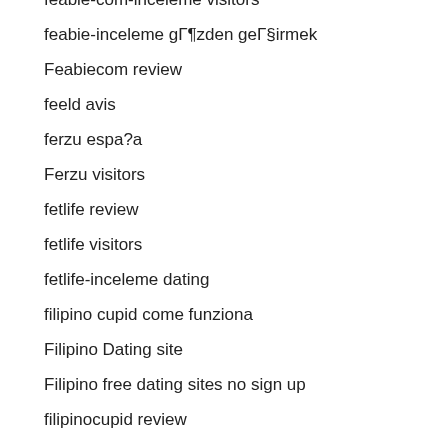feabie-com-inceleme visitors
feabie-inceleme gözden geçirmek
Feabiecom review
feeld avis
ferzu espa?a
Ferzu visitors
fetlife review
fetlife visitors
fetlife-inceleme dating
filipino cupid come funziona
Filipino Dating site
Filipino free dating sites no sign up
filipinocupid review
filipinocupid seiten